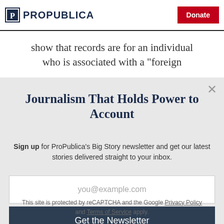ProPublica | Donate
show that records are for an individual who is associated with a "foreign
Journalism That Holds Power to Account
Sign up for ProPublica's Big Story newsletter and get our latest stories delivered straight to your inbox.
you@example.com
Get the Newsletter
No thanks, I'm all set
This site is protected by reCAPTCHA and the Google Privacy Policy and Terms of Service apply.